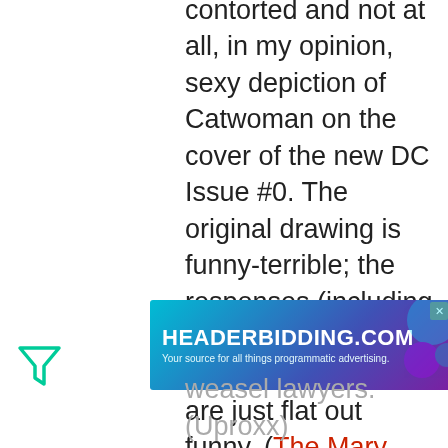contorted and not at all, in my opinion, sexy depiction of Catwoman on the cover of the new DC Issue #0. The original drawing is funny-terrible; the responses (including one from my internet crush Kate Beaton) are just flat out funny. (The Mary Sue)

Speaking of online cartoonists, those of you who love The Oatmeal will
[Figure (logo): Green filter/funnel icon]
[Figure (logo): Close/X circle button]
[Figure (screenshot): HEADERBIDDING.COM advertisement banner - Your source for all things programmatic advertising.]
weasel lawyers. (Uproxx)